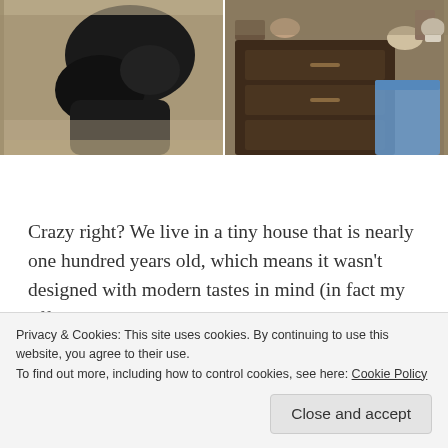[Figure (photo): Two side-by-side photos: left shows a dark cat or animal on a carpet floor, right shows a wooden dresser/furniture with a blue storage bin and some items on top]
Crazy right? We live in a tiny house that is nearly one hundred years old, which means it wasn't designed with modern tastes in mind (in fact my office was added on to the original house in the 70s or 80s and you have to go
Privacy & Cookies: This site uses cookies. By continuing to use this website, you agree to their use.
To find out more, including how to control cookies, see here: Cookie Policy
Close and accept